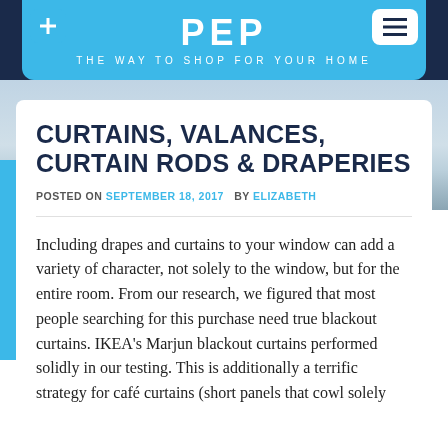PEP — THE WAY TO SHOP FOR YOUR HOME
CURTAINS, VALANCES, CURTAIN RODS & DRAPERIES
POSTED ON SEPTEMBER 18, 2017  BY ELIZABETH
Including drapes and curtains to your window can add a variety of character, not solely to the window, but for the entire room. From our research, we figured that most people searching for this purchase need true blackout curtains. IKEA's Marjun blackout curtains performed solidly in our testing. This is additionally a terrific strategy for café curtains (short panels that cowl solely